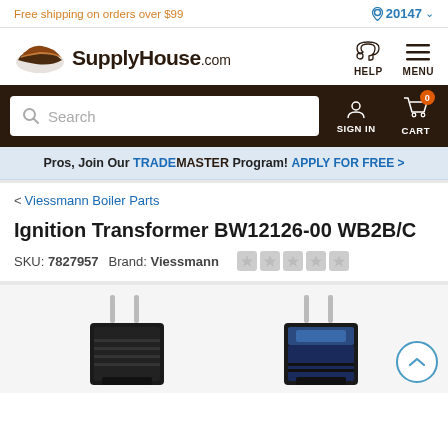Free shipping on orders over $99
[Figure (logo): SupplyHouse.com logo with stylized swoosh icon]
[Figure (screenshot): Search bar with SIGN IN and CART navigation on dark brown background]
Pros, Join Our TRADEMASTER Program! APPLY FOR FREE >
< Viessmann Boiler Parts
Ignition Transformer BW12126-00 WB2B/C
SKU: 7827957 Brand: Viessmann
[Figure (photo): Two ignition transformer product images side by side, black rectangular components with metal prongs on top]